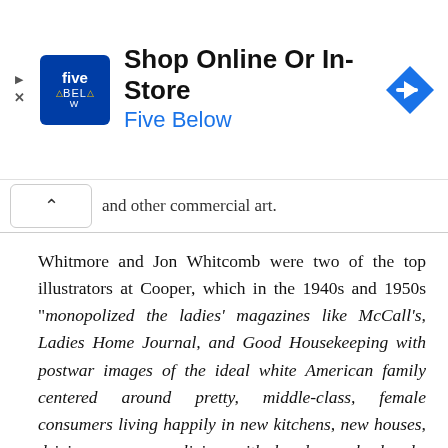[Figure (other): Five Below advertisement banner reading 'Shop Online Or In-Store' with Five Below logo and blue arrow icon]
and other commercial art.
Whitmore and Jon Whitcomb were two of the top illustrators at Cooper, which in the 1940s and 1950s "monopolized the ladies' magazines like McCall's, Ladies Home Journal, and Good Housekeeping with postwar images of the ideal white American family centered around pretty, middle-class, female consumers living happily in new kitchens, new houses, driving new cars, living with handsome husbands, adorable children, and cute dogs".